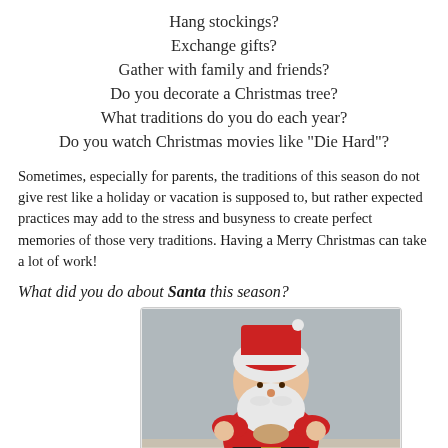Hang stockings?
Exchange gifts?
Gather with family and friends?
Do you decorate a Christmas tree?
What traditions do you do each year?
Do you watch Christmas movies like "Die Hard"?
Sometimes, especially for parents, the traditions of this season do not give rest like a holiday or vacation is supposed to, but rather expected practices may add to the stress and busyness to create perfect memories of those very traditions. Having a Merry Christmas can take a lot of work!
What did you do about Santa this season?
[Figure (photo): A ceramic or plastic Santa Claus figurine dressed in red suit with white beard and hair, holding something in his hands, sitting on a lace tablecloth with what appears to be a cat or small animal at the bottom.]